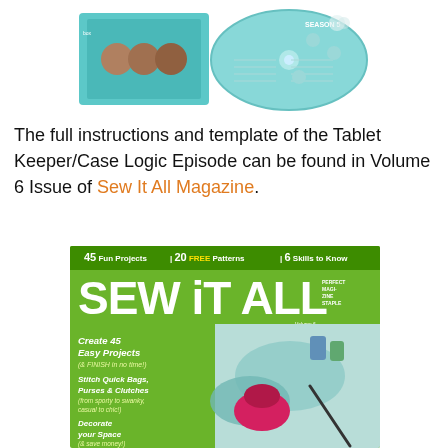[Figure (photo): A teal/turquoise DVD or Blu-ray box set with a disc partially out of the case, showing Season 5 branding and episode listings.]
The full instructions and template of the Tablet Keeper/Case Logic Episode can be found in Volume 6 Issue of Sew It All Magazine.
[Figure (photo): Cover of Sew It All Magazine showing a green cover with the title 'SEW iT ALL', taglines '45 Fun Projects | 20 FREE Patterns | 6 Skills to Know', and text 'Create 45 Easy Projects (& FINISH in no time!)', 'Stitch Quick Bags, Purses & Clutches', 'Decorate your Space (& save money!)' with sewing supplies imagery.]